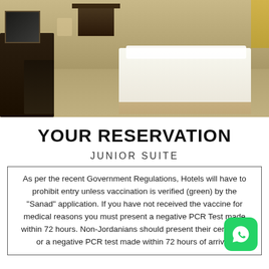[Figure (photo): Hotel junior suite room interior showing a bed with white linens, tiled floor, and dark wooden furniture]
YOUR RESERVATION
JUNIOR SUITE
As per the recent Government Regulations, Hotels will have to prohibit entry unless vaccination is verified (green) by the “Sanad” application. If you have not received the vaccine for medical reasons you must present a negative PCR Test made within 72 hours. Non-Jordanians should present their certificate or a negative PCR test made within 72 hours of arrival.